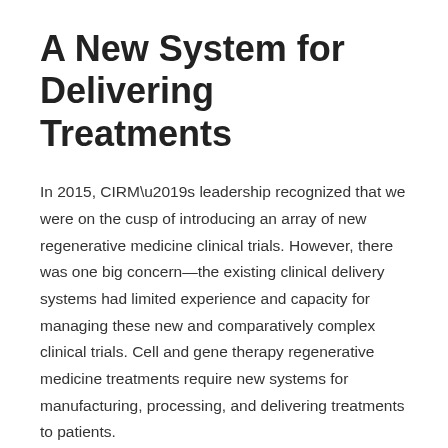A New System for Delivering Treatments
In 2015, CIRM’s leadership recognized that we were on the cusp of introducing an array of new regenerative medicine clinical trials. However, there was one big concern—the existing clinical delivery systems had limited experience and capacity for managing these new and comparatively complex clinical trials. Cell and gene therapy regenerative medicine treatments require new systems for manufacturing, processing, and delivering treatments to patients.
In anticipation of the need for clinical bandwidth to support clinical trials, CIRM funded a network of